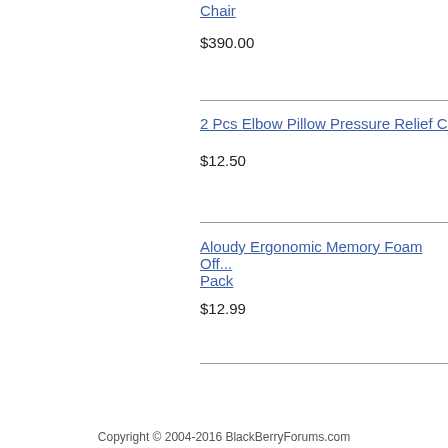Chair
$390.00
2 Pcs Elbow Pillow Pressure Relief Ch...
$12.50
Aloudy Ergonomic Memory Foam Off... Pack
$12.99
Copyright © 2004-2016 BlackBerryForums.com